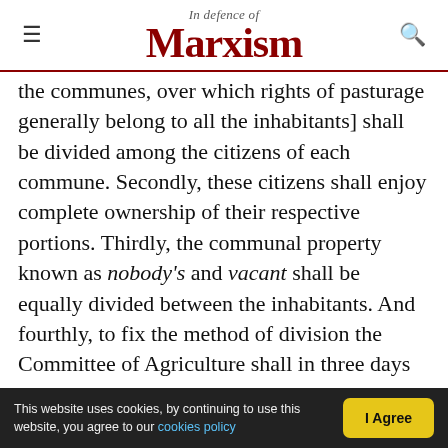In Defence of Marxism
the communes, over which rights of pasturage generally belong to all the inhabitants] shall be divided among the citizens of each commune. Secondly, these citizens shall enjoy complete ownership of their respective portions. Thirdly, the communal property known as nobody's and vacant shall be equally divided between the inhabitants. And fourthly, to fix the method of division the Committee of Agriculture shall in three days propose a plan to be decreed.” By this same decree the Legislative Assembly abolished also the joint liability of the commoners for the payment of dues.
This website uses cookies, by continuing to use this website, you agree to our cookies policy   I Agree